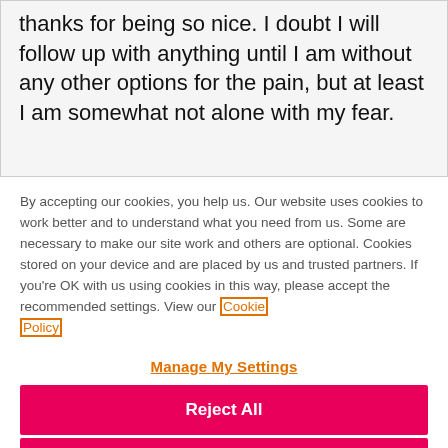thanks for being so nice.  I doubt I will follow up with anything until I am without any other options for the pain, but at least I am somewhat not alone with my fear.
By accepting our cookies, you help us. Our website uses cookies to work better and to understand what you need from us. Some are necessary to make our site work and others are optional. Cookies stored on your device and are placed by us and trusted partners. If you're OK with us using cookies in this way, please accept the recommended settings. View our Cookie Policy
Manage My Settings
Reject All
Accept All Cookies